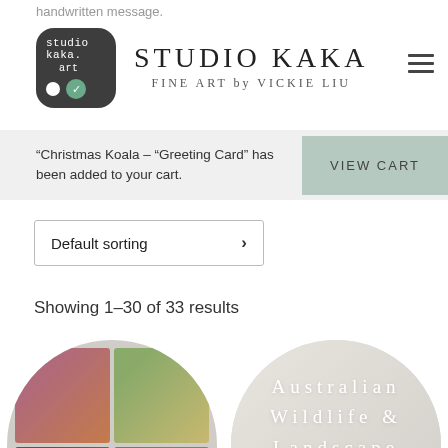handwritten message.
[Figure (logo): Studio Kaka logo: dark rounded square with white handwritten text 'studio kaka.' and 'art' with white and green circle icons]
STUDIO KAKA
FINE ART by VICKIE LIU
"Christmas Koala – "Greeting Card" has been added to your cart.
VIEW CART
Default sorting
Showing 1–30 of 33 results
[Figure (photo): Circular product image showing floral greeting cards arranged in a grid with label 'Floral Cards']
[Figure (photo): Circular product image with marble/grey background showing 'Australian Wildlife & Landscape' category]